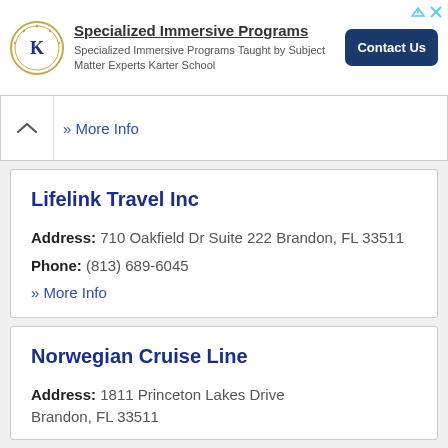[Figure (logo): Karter School advertisement banner with K logo, 'Specialized Immersive Programs' title, subtitle text, and Contact Us button]
» More Info
Lifelink Travel Inc
Address: 710 Oakfield Dr Suite 222 Brandon, FL 33511
Phone: (813) 689-6045
» More Info
Norwegian Cruise Line
Address: 1811 Princeton Lakes Drive Brandon, FL 33511